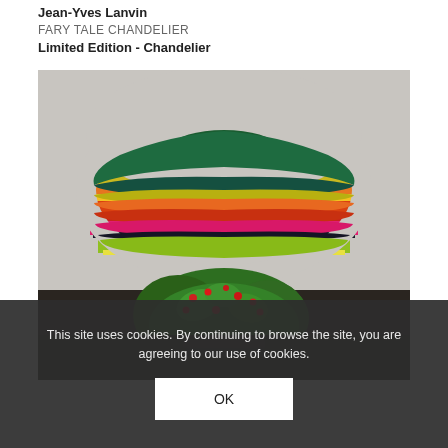Jean-Yves Lanvin
FARY TALE CHANDELIER
Limited Edition - Chandelier
[Figure (photo): A colorful woven/knitted chandelier lamp shade with horizontal stripes in green, yellow, orange, red, pink and lime green, hanging from a metal mount. Below it is a green plant with small red berries. The background is a light grey wall. The lower portion of the image shows a dark interior with stacked black books/objects.]
This site uses cookies. By continuing to browse the site, you are agreeing to our use of cookies.
OK